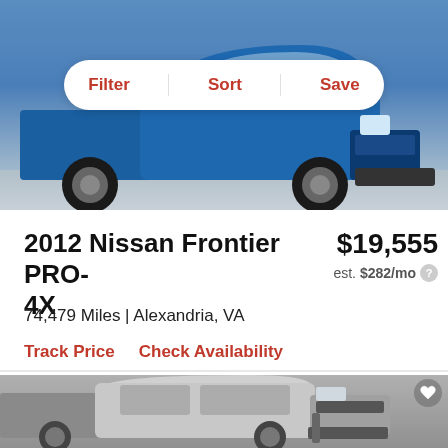[Figure (photo): Blue Nissan Frontier truck viewed from front, photographed in a studio with gray background]
Filter | Sort | Save
2012 Nissan Frontier PRO-4X
$19,555
est. $282/mo
74,479 Miles | Alexandria, VA
Track Price   Check Availability
[Figure (photo): Silver/white Nissan Frontier pickup truck viewed from the side, in a gray studio setting]